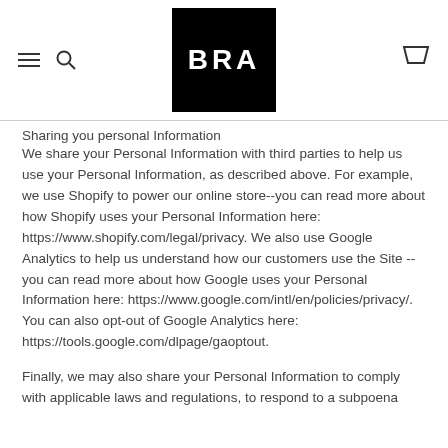BRA (logo with navigation icons)
Sharing you personal Information
We share your Personal Information with third parties to help us use your Personal Information, as described above. For example, we use Shopify to power our online store--you can read more about how Shopify uses your Personal Information here: https://www.shopify.com/legal/privacy. We also use Google Analytics to help us understand how our customers use the Site -- you can read more about how Google uses your Personal Information here: https://www.google.com/intl/en/policies/privacy/. You can also opt-out of Google Analytics here: https://tools.google.com/dlpage/gaoptout.
Finally, we may also share your Personal Information to comply with applicable laws and regulations, to respond to a subpoena